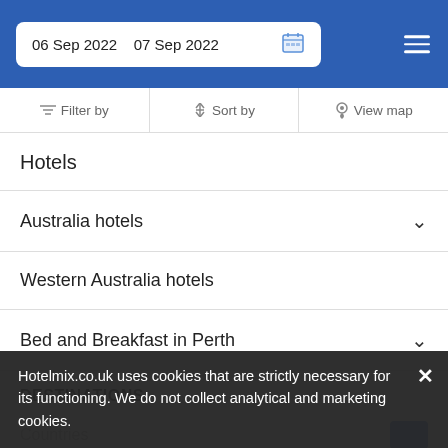06 Sep 2022  07 Sep 2022
Filter by  Sort by  View map
Hotels
Australia hotels
Western Australia hotels
Bed and Breakfast in Perth
DESTINATIONS
Countries
Top Cities
Airports
Hotelmix.co.uk uses cookies that are strictly necessary for its functioning. We do not collect analytical and marketing cookies.